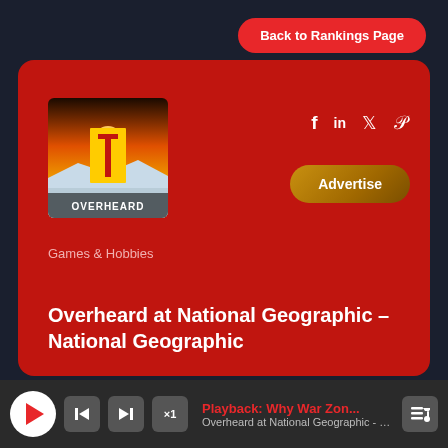Back to Rankings Page
[Figure (screenshot): National Geographic Overheard podcast cover art with NatGeo yellow rectangle logo over a snowy landscape background, text OVERHEARD at bottom]
f  in  ✦  ρ
Advertise
Games & Hobbies
Overheard at National Geographic – National Geographic
Playback: Why War Zon...
Overheard at National Geographic - National Geographic